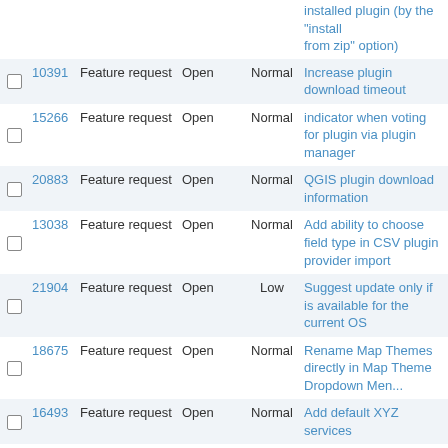|  | # | Type | Status | Priority | Title |
| --- | --- | --- | --- | --- | --- |
|  |  |  |  |  | installed plugin (by the "install from zip" option) |
|  | 10391 | Feature request | Open | Normal | Increase plugin download timeout |
|  | 15266 | Feature request | Open | Normal | indicator when voting for plugin via plugin manager |
|  | 20883 | Feature request | Open | Normal | QGIS plugin download information |
|  | 13038 | Feature request | Open | Normal | Add ability to choose field type in CSV plugin provider import |
|  | 21904 | Feature request | Open | Low | Suggest update only if is available for the current OS |
|  | 18675 | Feature request | Open | Normal | Rename Map Themes directly in Map Theme Dropdown Menu |
|  | 16493 | Feature request | Open | Normal | Add default XYZ services |
|  | 15652 | Feature request | Open | High | Add option for OGR data sources to be opened in read only mode |
|  | 20393 | Feature request | Open | Normal | Enhance QGIS Filter to use Geoserver filter function |
|  | 15400 | Feature request | Open | Normal | Better placement of multiline labels |
|  | 15399 | Feature request | Feedback | Normal | Support for polygon outline labelling |
|  | 19161 | Feature request | Open | Normal | [Processing] GDAL translate needs more option |
|  | 21679 | Feature request | Open | Normal | Add a GDAL/processing tool for ogrmerge |
|  | 21571 | Feature request | Open | Normal | GDAL Warp (Reproject) tool: make the target CRS param... |